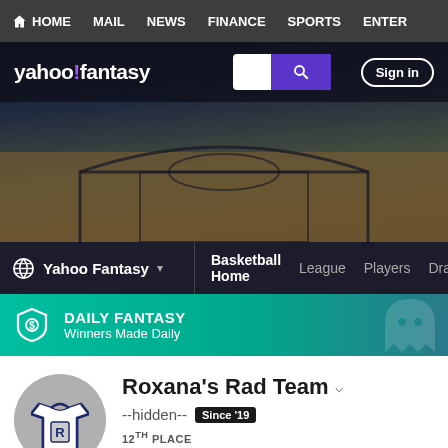HOME  MAIL  NEWS  FINANCE  SPORTS  ENTER
[Figure (screenshot): Yahoo Fantasy Sports website header with logo, search box, and Sign in button over a basketball court background image]
Yahoo Fantasy  Basketball Home  League  Players  Draft
DAILY FANTASY
Winners Made Daily
[Figure (logo): Team jersey icon with letter R on circular gray background]
Roxana's Rad Team
--hidden--  Since '19
12TH PLACE
34.00 Points